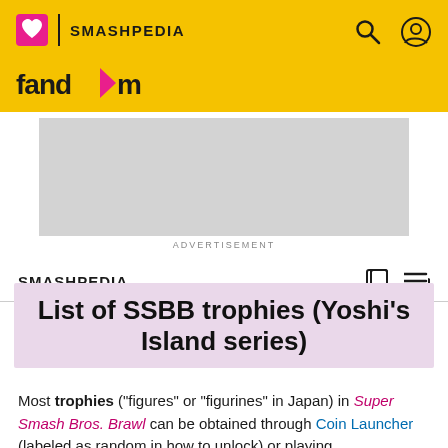SMASHPEDIA
[Figure (screenshot): Fandom logo in top-left of yellow header bar]
[Figure (infographic): Advertisement placeholder block (gray rectangle)]
ADVERTISEMENT
SMASHPEDIA
List of SSBB trophies (Yoshi's Island series)
Most trophies ("figures" or "figurines" in Japan) in Super Smash Bros. Brawl can be obtained through Coin Launcher (labeled as random in how to unlock) or playing